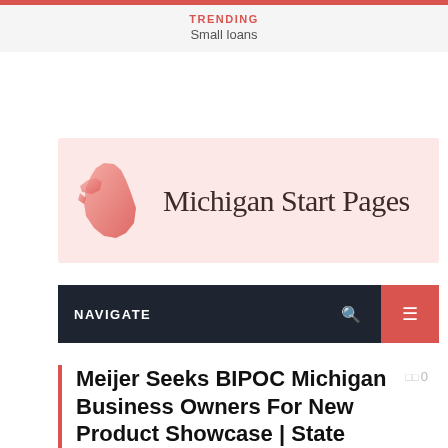TRENDING
Small loans
[Figure (logo): Michigan Start Pages logo with Michigan state outline silhouette in pink/coral gradient and text 'Michigan Start Pages']
NAVIGATE
Meijer Seeks BIPOC Michigan Business Owners For New Product Showcase | State